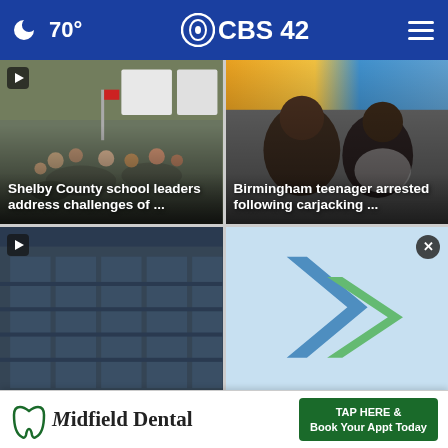🌙 70° CBS42 ☰
[Figure (photo): Conference room with people seated at round tables, American flag and presentation boards visible. Play button overlay in top-left corner.]
Shelby County school leaders address challenges of ...
[Figure (photo): Two Black teenage males photographed from the side/profile, mugshot-style image.]
Birmingham teenager arrested following carjacking ...
[Figure (photo): Dark blue building exterior with play button overlay in top-left corner.]
[Figure (logo): Colorful chevron/arrow logo on light blue background with a close (X) button overlay.]
Midfield Dental  TAP HERE & Book Your Appt Today